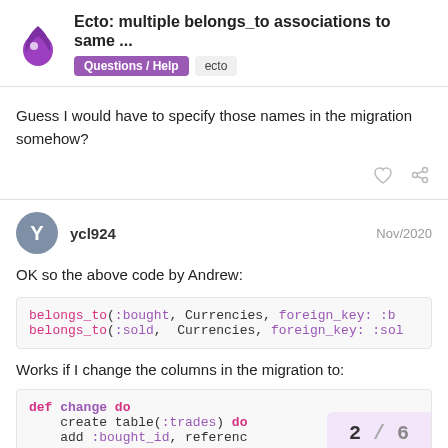Ecto: multiple belongs_to associations to same ... | Questions / Help | ecto
Guess I would have to specify those names in the migration somehow?
ycl924  Nov/2020
OK so the above code by Andrew:
belongs_to(:bought, Currencies, foreign_key: :b
belongs_to(:sold, Currencies, foreign_key: :sol
Works if I change the columns in the migration to:
def change do
    create table(:trades) do
    add :bought_id, referenc